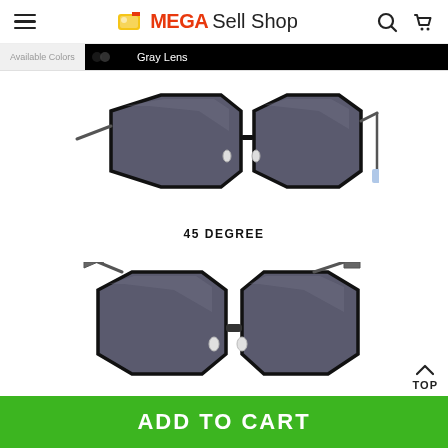MEGASell Shop
[Figure (screenshot): Color selection bar showing 'Available Colors' label and 'Gray Lens' selected option in black]
[Figure (photo): Black octagonal frame sunglasses with gray lenses, side angle view showing metal arms]
45 DEGREE
[Figure (photo): Black octagonal frame sunglasses with gray lenses, front/top angle view showing both lenses]
TOP
ADD TO CART